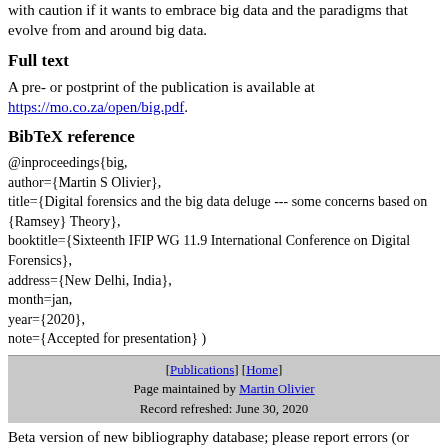with caution if it wants to embrace big data and the paradigms that evolve from and around big data.
Full text
A pre- or postprint of the publication is available at https://mo.co.za/open/big.pdf.
BibTeX reference
@inproceedings{big,
author={Martin S Olivier},
title={Digital forensics and the big data deluge --- some concerns based on {Ramsey} Theory},
booktitle={Sixteenth IFIP WG 11.9 International Conference on Digital Forensics},
address={New Delhi, India},
month=jan,
year={2020},
note={Accepted for presentation} )
[Publications] [Home] Page maintained by Martin Olivier Record refreshed: June 30, 2020
Beta version of new bibliography database; please report errors (or copyright violations) that may have slipped in.